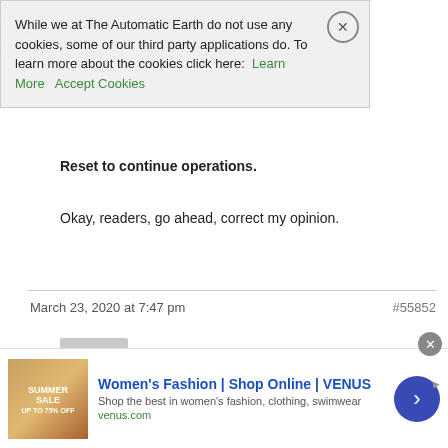While we at The Automatic Earth do not use any cookies, some of our third party applications do. To learn more about the cookies click here: Learn More  Accept Cookies
Reset to continue operations.
Okay, readers, go ahead, correct my opinion.
March 23, 2020 at 7:47 pm  #55852
[Figure (illustration): Generic user avatar placeholder — grey silhouette of person on grey background]
seychelles
Participant
On March 22, a Texas state edict was distributed to all pharmacies mandating that no prescriptions for hydroxychloroquine and azithromycin would be honored without an accompanying covid19 diagnosis code verifying that the recipient had an active case of Wuhan virus.
Women's Fashion | Shop Online | VENUS
Shop the best in women's fashion, clothing, swimwear
venus.com